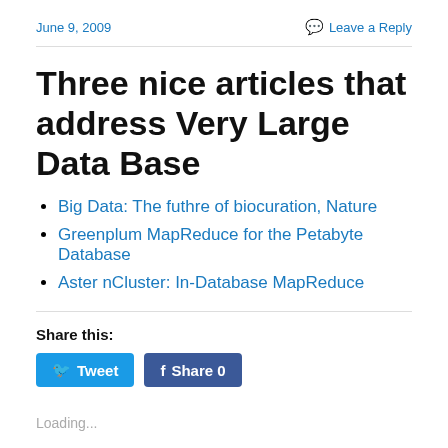June 9, 2009    Leave a Reply
Three nice articles that address Very Large Data Base
Big Data: The futhre of biocuration, Nature
Greenplum MapReduce for the Petabyte Database
Aster nCluster: In-Database MapReduce
Share this:
Tweet   Share 0
Loading...